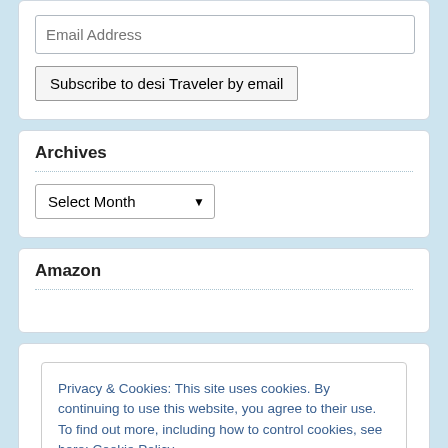Email Address
Subscribe to desi Traveler by email
Archives
Select Month
Amazon
Privacy & Cookies: This site uses cookies. By continuing to use this website, you agree to their use.
To find out more, including how to control cookies, see here: Cookie Policy
Close and accept
Nursery Delhi